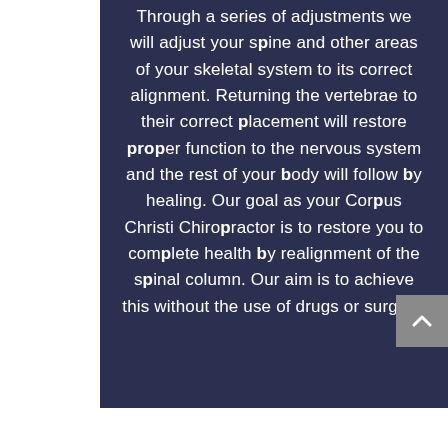Through a series of adjustments we will adjust your spine and other areas of your skeletal system to its correct alignment. Returning the vertebrae to their correct placement will restore proper function to the nervous system and the rest of your body will follow by healing. Our goal as your Corpus Christi Chiropractor is to restore you to complete health by realignment of the spinal column. Our aim is to achieve this without the use of drugs or surgery.